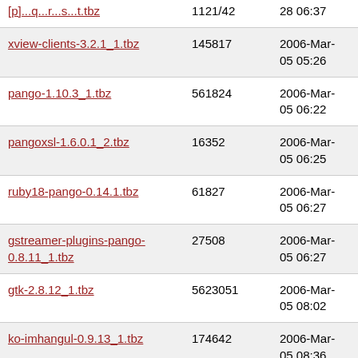| Filename | Size | Date |
| --- | --- | --- |
| [partial top row] | 1121/42 | 28 06:37 |
| xview-clients-3.2.1_1.tbz | 145817 | 2006-Mar-05 05:26 |
| pango-1.10.3_1.tbz | 561824 | 2006-Mar-05 06:22 |
| pangoxsl-1.6.0.1_2.tbz | 16352 | 2006-Mar-05 06:25 |
| ruby18-pango-0.14.1.tbz | 61827 | 2006-Mar-05 06:27 |
| gstreamer-plugins-pango-0.8.11_1.tbz | 27508 | 2006-Mar-05 06:27 |
| gtk-2.8.12_1.tbz | 5623051 | 2006-Mar-05 08:02 |
| ko-imhangul-0.9.13_1.tbz | 174642 | 2006-Mar-05 08:36 |
| gtkglarea-1.99.0_8.tbz | 25320 | 2006-Mar-05 09:09 |
| gtkdatabox2-0.2.4.5_4.tbz | 31136 | 2006-Mar-05 09:12 |
| qtpixmap-0.28_5.tbz | 44213 | 2006-Mar-05 09:13 |
| libzvt-2.0.1_13.tbz | 95551 | 2006-Mar- |